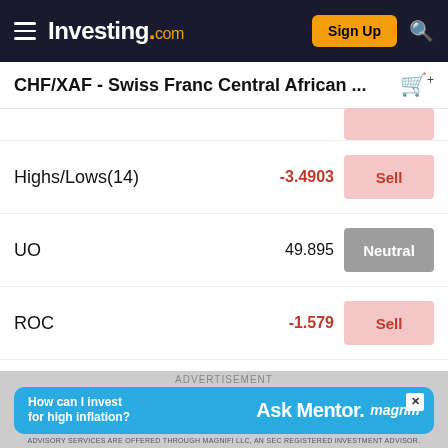Investing.com — Sign Up
CHF/XAF - Swiss Franc Central African ...
| Indicator | Value | Signal |
| --- | --- | --- |
| Highs/Lows(14) | -3.4903 | Sell |
| UO | 49.895 | Neutral |
| ROC | -1.579 | Sell |
| WilliamsR | -91.433 | Oversold |
| BullBear(13) | -10.0764 | Sell |
[Figure (screenshot): Advertisement banner: Ask Mentor by Magnifi — How can I invest for high inflation?]